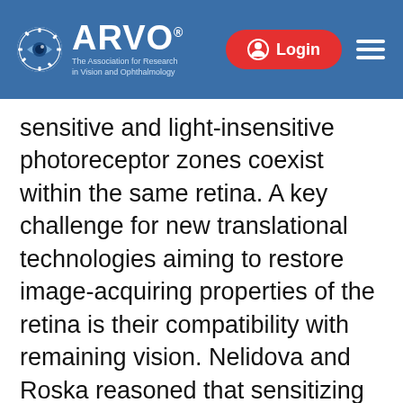ARVO — The Association for Research in Vision and Ophthalmology
sensitive and light-insensitive photoreceptor zones coexist within the same retina. A key challenge for new translational technologies aiming to restore image-acquiring properties of the retina is their compatibility with remaining vision. Nelidova and Roska reasoned that sensitizing the retina to wavelengths that functional photoreceptors are unable to detect (>900 nm) could supplement deteriorating natural vision without interfering with ability to see the visible